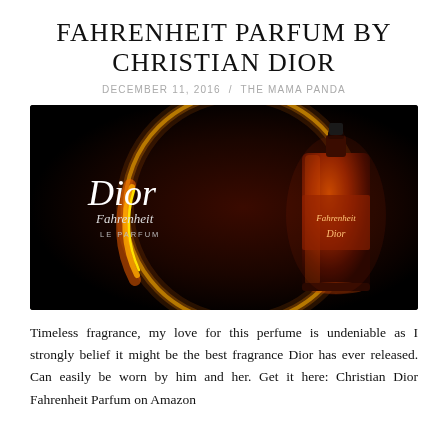FAHRENHEIT PARFUM BY CHRISTIAN DIOR
DECEMBER 11, 2016  /  THE MAMA PANDA
[Figure (photo): Dior Fahrenheit Le Parfum advertisement: dark background with a glowing orange/red circular arc of light, bottle of Fahrenheit on the right, Dior Fahrenheit LE PARFUM text on the left.]
Timeless fragrance, my love for this perfume is undeniable as I strongly belief it might be the best fragrance Dior has ever released. Can easily be worn by him and her. Get it here: Christian Dior Fahrenheit Parfum on Amazon